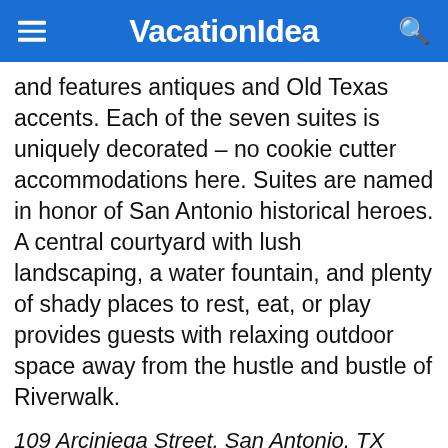VacationIdea
and features antiques and Old Texas accents. Each of the seven suites is uniquely decorated – no cookie cutter accommodations here. Suites are named in honor of San Antonio historical heroes. A central courtyard with lush landscaping, a water fountain, and plenty of shady places to rest, eat, or play provides guests with relaxing outdoor space away from the hustle and bustle of Riverwalk.
109 Arciniega Street, San Antonio, TX
You are reading "Where to Stay in San Antonio